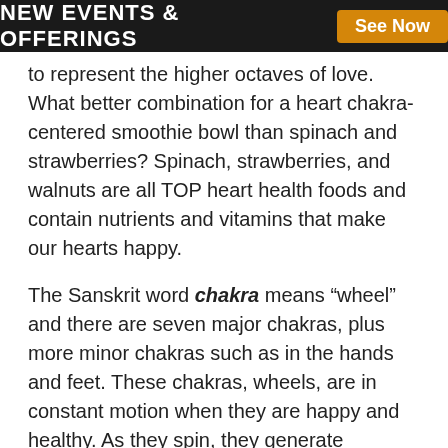NEW EVENTS & OFFERINGS  See Now
to represent the higher octaves of love. What better combination for a heart chakra-centered smoothie bowl than spinach and strawberries? Spinach, strawberries, and walnuts are all TOP heart health foods and contain nutrients and vitamins that make our hearts happy.
The Sanskrit word chakra means “wheel” and there are seven major chakras, plus more minor chakras such as in the hands and feet. These chakras, wheels, are in constant motion when they are happy and healthy. As they spin, they generate vortexes of energy that work with our mental, emotional, physical, and spiritual bodies. Read a quick